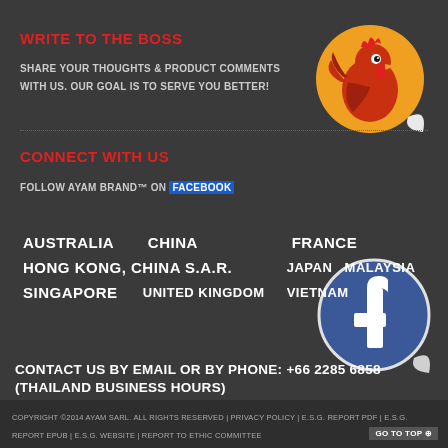WRITE TO THE BOSS
SHARE YOUR THOUGHTS & PRODUCT COMMENTS WITH US. OUR GOAL IS TO SERVE YOU BETTER!
[Figure (illustration): Rooster character sticker with orange/yellow circular background]
CONNECT WITH US
FOLLOW AYAM BRAND™ ON FACEBOOK
[Figure (logo): Facebook logo sticker on blue/white circular background with peel effect]
AUSTRALIA    CHINA    FRANCE
HONG KONG, CHINA S.A.R.    JAPAN    MALAYSIA
SINGAPORE    UNITED KINGDOM    VIETNAM
CONTACT US BY EMAIL OR BY PHONE: +66 2285 6858 (THAILAND BUSINESS HOURS)
COPYRIGHT ©2014 AYAM SARL. ALL RIGHTS RESERVED | PRIVACY POLICY | E.S.G. REPORT PDF | E.S.G. REPORT EPUB | E.S.G. WEBSITE | REPORT TO ETHIC COMMITTEE